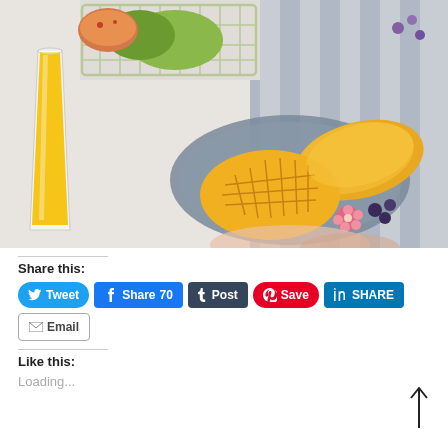[Figure (photo): Photo of mango juice in a glass and sliced mangoes on a plate, with whole mangoes in a wire basket, blueberries, and a small pink flower on a striped tablecloth.]
Share this:
Tweet | Share 70 | Post | Save | SHARE | Email
Like this:
Loading...